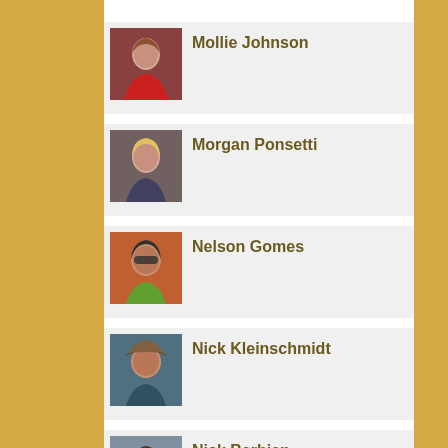Mollie Johnson
Morgan Ponsetti
Nelson Gomes
Nick Kleinschmidt
Nick Barbian
Oriel Poole